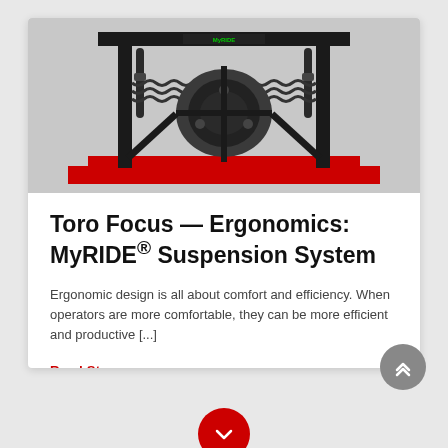[Figure (photo): Close-up photo of the MyRIDE suspension system on a Toro zero-turn mower, showing black metal frame, shock absorbers, springs, and mechanical components with a red base plate and the MyRIDE logo visible at the top.]
Toro Focus — Ergonomics: MyRIDE® Suspension System
Ergonomic design is all about comfort and efficiency. When operators are more comfortable, they can be more efficient and productive [...]
Read Story →